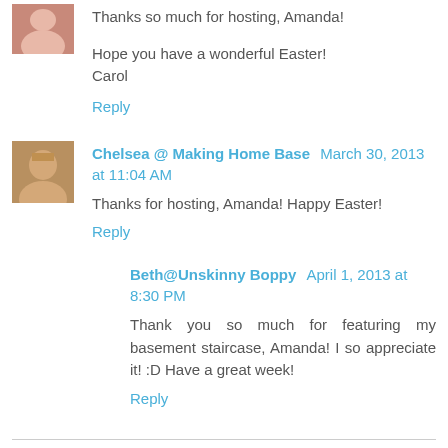Thanks so much for hosting, Amanda!

Hope you have a wonderful Easter!
Carol
Reply
Chelsea @ Making Home Base  March 30, 2013 at 11:04 AM
Thanks for hosting, Amanda! Happy Easter!
Reply
Beth@Unskinny Boppy  April 1, 2013 at 8:30 PM
Thank you so much for featuring my basement staircase, Amanda! I so appreciate it! :D Have a great week!
Reply